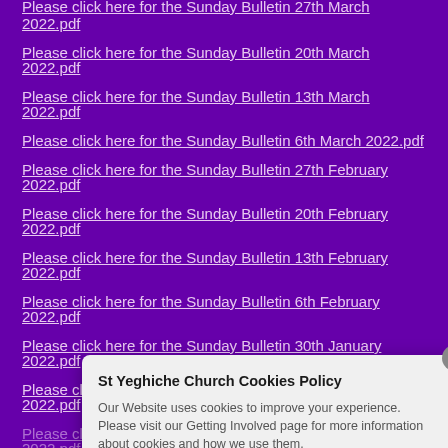Please click here for the Sunday Bulletin 27th March 2022.pdf
Please click here for the Sunday Bulletin 20th March 2022.pdf
Please click here for the Sunday Bulletin 13th March 2022.pdf
Please click here for the Sunday Bulletin 6th March 2022.pdf
Please click here for the Sunday Bulletin 27th February 2022.pdf
Please click here for the Sunday Bulletin 20th February 2022.pdf
Please click here for the Sunday Bulletin 13th February 2022.pdf
Please click here for the Sunday Bulletin 6th February 2022.pdf
Please click here for the Sunday Bulletin 30th January 2022.pdf
Please click here for the Sunday Bulletin 23rd January 2022.pdf
Please click here for the Sunday Bulletin 16th January 2022.pdf
Please click here for the Sunday Bulletin 9th January 2022.pdf
Please click here for the Sunday Bulletin 2nd January 2022.pdf
St Yeghiche Church Cookies Policy
Our Website uses cookies to improve your experience. Please visit our Getting Involved page for more information about cookies and how we use them.